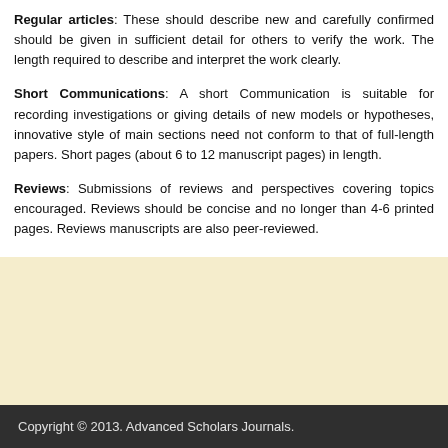Regular articles: These should describe new and carefully confirmed should be given in sufficient detail for others to verify the work. The length required to describe and interpret the work clearly.
Short Communications: A short Communication is suitable for recording investigations or giving details of new models or hypotheses, innovative style of main sections need not conform to that of full-length papers. Short pages (about 6 to 12 manuscript pages) in length.
Reviews: Submissions of reviews and perspectives covering topics encouraged. Reviews should be concise and no longer than 4-6 printed pages. Reviews manuscripts are also peer-reviewed.
Copyright © 2013. Advanced Scholars Journals.